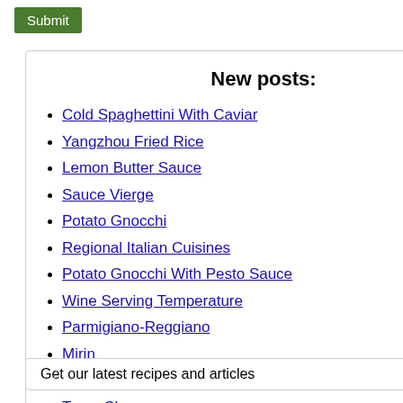Submit
New posts:
Cold Spaghettini With Caviar
Yangzhou Fried Rice
Lemon Butter Sauce
Sauce Vierge
Potato Gnocchi
Regional Italian Cuisines
Potato Gnocchi With Pesto Sauce
Wine Serving Temperature
Parmigiano-Reggiano
Mirin
Ricotta
Toma Cheese
Fontina
Get our latest recipes and articles